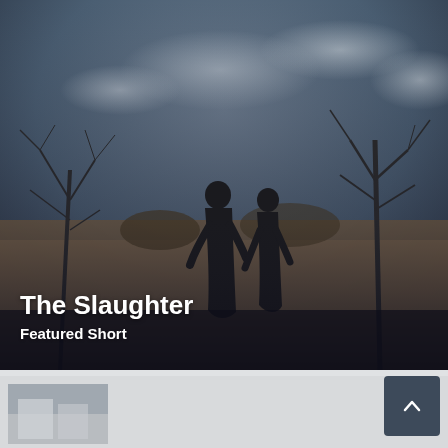[Figure (photo): Outdoor twilight scene with two dark silhouetted figures standing facing each other in an open field. Bare trees visible in the background, cloudy sky with muted blue-grey tones. Warm brownish-golden tones on the ground.]
The Slaughter
Featured Short
[Figure (photo): Small thumbnail preview of another film or scene, partially visible at the bottom of the page. Shows a blurry outdoor scene.]